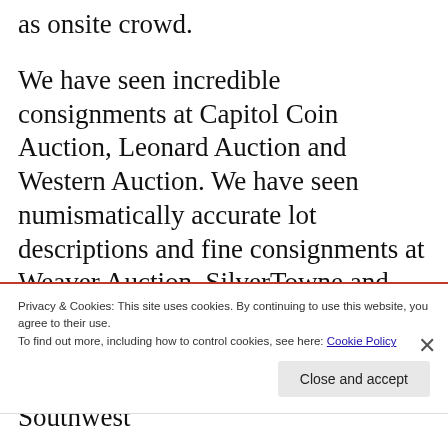as onsite crowd.
We have seen incredible consignments at Capitol Coin Auction, Leonard Auction and Western Auction. We have seen numismatically accurate lot descriptions and fine consignments at Weaver Auction, SilverTowne and Key Date Coins. Rolling M Auction and Kaufman Auction are improving on all levels with each auction. Southwest
Privacy & Cookies: This site uses cookies. By continuing to use this website, you agree to their use.
To find out more, including how to control cookies, see here: Cookie Policy
Close and accept